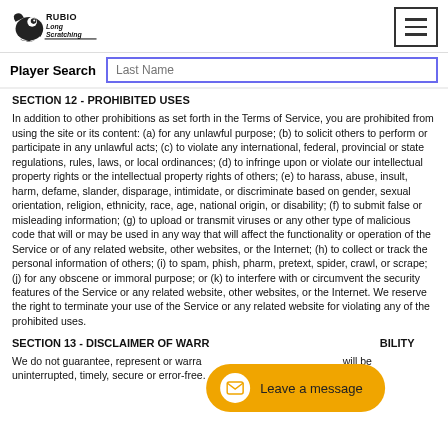[Figure (logo): Rubio Long Scratching logo with bird graphic and text]
Player Search
SECTION 12 - PROHIBITED USES
In addition to other prohibitions as set forth in the Terms of Service, you are prohibited from using the site or its content: (a) for any unlawful purpose; (b) to solicit others to perform or participate in any unlawful acts; (c) to violate any international, federal, provincial or state regulations, rules, laws, or local ordinances; (d) to infringe upon or violate our intellectual property rights or the intellectual property rights of others; (e) to harass, abuse, insult, harm, defame, slander, disparage, intimidate, or discriminate based on gender, sexual orientation, religion, ethnicity, race, age, national origin, or disability; (f) to submit false or misleading information; (g) to upload or transmit viruses or any other type of malicious code that will or may be used in any way that will affect the functionality or operation of the Service or of any related website, other websites, or the Internet; (h) to collect or track the personal information of others; (i) to spam, phish, pharm, pretext, spider, crawl, or scrape; (j) for any obscene or immoral purpose; or (k) to interfere with or circumvent the security features of the Service or any related website, other websites, or the Internet. We reserve the right to terminate your use of the Service or any related website for violating any of the prohibited uses.
SECTION 13 - DISCLAIMER OF WARRANTIES AND LIMITATION OF LIABILITY
We do not guarantee, represent or warrant that your use of our service will be uninterrupted, timely, secure or error-free.
[Figure (other): Live chat bubble: envelope icon with text 'Leave a message' on orange rounded background]